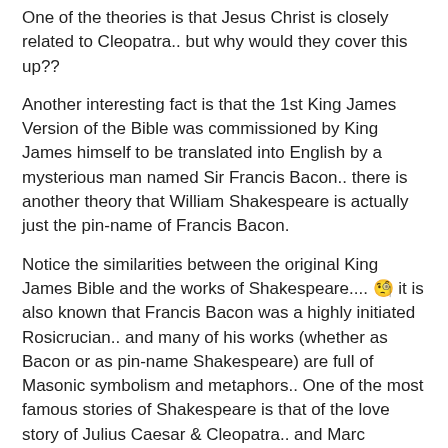One of the theories is that Jesus Christ is closely related to Cleopatra.. but why would they cover this up??
Another interesting fact is that the 1st King James Version of the Bible was commissioned by King James himself to be translated into English by a mysterious man named Sir Francis Bacon.. there is another theory that William Shakespeare is actually just the pin-name of Francis Bacon.
Notice the similarities between the original King James Bible and the works of Shakespeare.... 🧐 it is also known that Francis Bacon was a highly initiated Rosicrucian.. and many of his works (whether as Bacon or as pin-name Shakespeare) are full of Masonic symbolism and metaphors.. One of the most famous stories of Shakespeare is that of the love story of Julius Caesar & Cleopatra.. and Marc Anthony & their mysterious royal children.... 🤔
This stuff keeps me up at night!! 😄